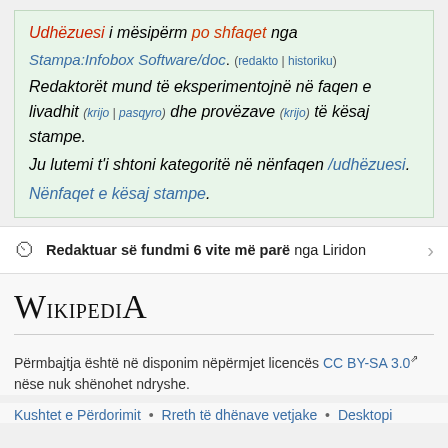Udhëzuesi i mësipërm po shfaqet nga Stampa:Infobox Software/doc. (redakto | historiku) Redaktorët mund të eksperimentojnë në faqen e livadhit (krijo | pasqyro) dhe provëzave (krijo) të kësaj stampe. Ju lutemi t'i shtoni kategoritë në nënfaqen /udhëzuesi. Nënfaqet e kësaj stampe.
Redaktuar së fundmi 6 vite më parë nga Liridon
[Figure (logo): Wikipedia logo text]
Përmbajtja është në disponim nëpërmjet licencës CC BY-SA 3.0 nëse nuk shënohet ndryshe.
Kushtet e Përdorimit • Rreth të dhënave vetjake • Desktopi